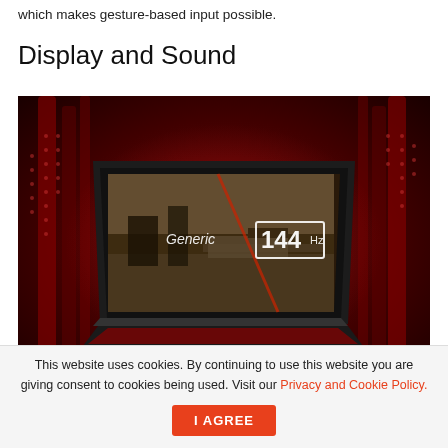which makes gesture-based input possible.
Display and Sound
[Figure (photo): Gaming laptop with dark red background lighting, displaying a first-person shooter game on screen with '144 Hz' overlay and 'Generic' watermark]
This website uses cookies. By continuing to use this website you are giving consent to cookies being used. Visit our Privacy and Cookie Policy.   I Agree